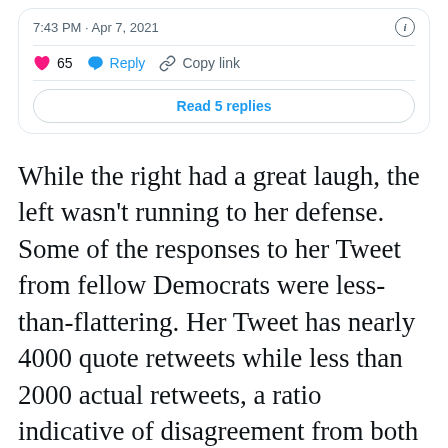[Figure (screenshot): Partial Twitter/social media tweet card showing timestamp '7:43 PM · Apr 7, 2021', like count of 65, Reply button, Copy link button, and a 'Read 5 replies' button]
While the right had a great laugh, the left wasn't running to her defense. Some of the responses to her Tweet from fellow Democrats were less-than-flattering. Her Tweet has nearly 4000 quote retweets while less than 2000 actual retweets, a ratio indicative of disagreement from both sides of the aisle.